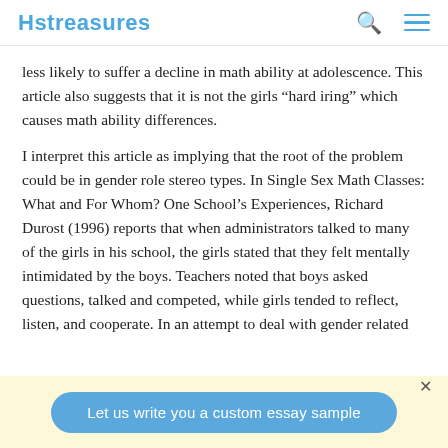Hstreasures
less likely to suffer a decline in math ability at adolescence. This article also suggests that it is not the girls “hard iring” which causes math ability differences.
I interpret this article as implying that the root of the problem could be in gender role stereo types. In Single Sex Math Classes: What and For Whom? One School’s Experiences, Richard Durost (1996) reports that when administrators talked to many of the girls in his school, the girls stated that they felt mentally intimidated by the boys. Teachers noted that boys asked questions, talked and competed, while girls tended to reflect, listen, and cooperate. In an attempt to deal with gender related
Let us write you a custom essay sample